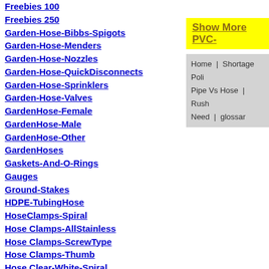Freebies 100
Freebies 250
Garden-Hose-Bibbs-Spigots
Garden-Hose-Menders
Garden-Hose-Nozzles
Garden-Hose-QuickDisconnects
Garden-Hose-Sprinklers
Garden-Hose-Valves
GardenHose-Female
GardenHose-Male
GardenHose-Other
GardenHoses
Gaskets-And-O-Rings
Gauges
Ground-Stakes
HDPE-TubingHose
HoseClamps-Spiral
Hose Clamps-AllStainless
Hose Clamps-ScrewType
Hose Clamps-Thumb
Hose Clear-White-Spiral
Hose GREEN
Hose Translucent
Hose Translucent BTF
Intex-Swimming-Pool-Adapters
JG-Brass-Fittings
JG-Fittings-Caps
JG-Fittings-CheckValves
JG-Fittings-Couples
JG-Fittings-Elbows
Show More PVC-
Home | Shortage Poli Pipe Vs Hose | Rush Need | glossar